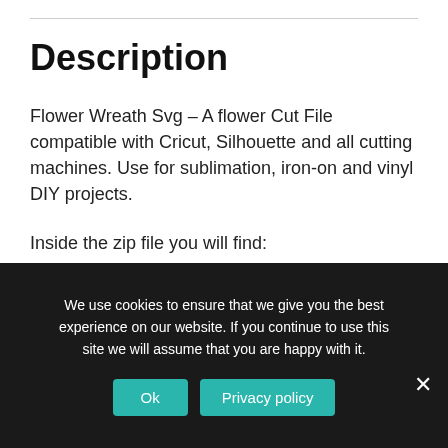Description
Flower Wreath Svg – A flower Cut File compatible with Cricut, Silhouette and all cutting machines. Use for sublimation, iron-on and vinyl DIY projects.
Inside the zip file you will find:
We use cookies to ensure that we give you the best experience on our website. If you continue to use this site we will assume that you are happy with it.